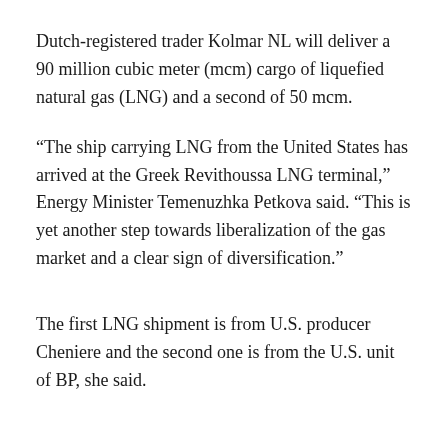Dutch-registered trader Kolmar NL will deliver a 90 million cubic meter (mcm) cargo of liquefied natural gas (LNG) and a second of 50 mcm.
“The ship carrying LNG from the United States has arrived at the Greek Revithoussa LNG terminal,” Energy Minister Temenuzhka Petkova said. “This is yet another step towards liberalization of the gas market and a clear sign of diversification.”
The first LNG shipment is from U.S. producer Cheniere and the second one is from the U.S. unit of BP, she said.